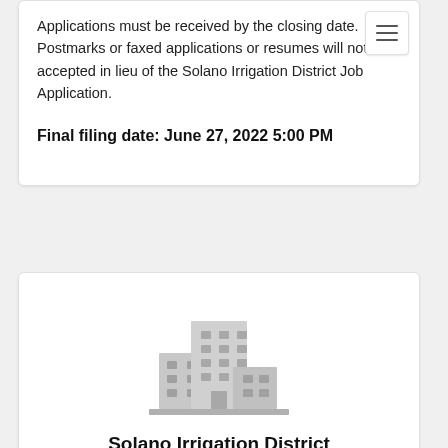Applications must be received by the closing date. Postmarks or faxed applications or resumes will not be accepted in lieu of the Solano Irrigation District Job Application.
Final filing date: June 27, 2022 5:00 PM
[Figure (illustration): Gray building/office icon representing Solano Irrigation District]
Solano Irrigation District
810 Vaca Valley Parkway
Vacaville , CA
https://www.sidwater.org/